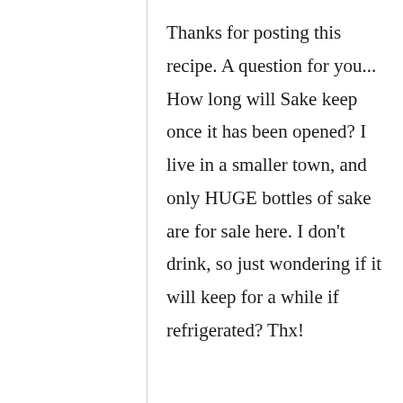Thanks for posting this recipe. A question for you... How long will Sake keep once it has been opened? I live in a smaller town, and only HUGE bottles of sake are for sale here. I don't drink, so just wondering if it will keep for a while if refrigerated? Thx!